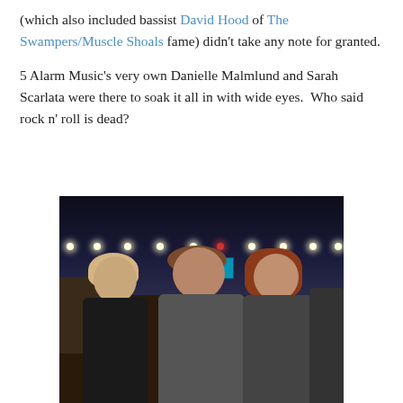(which also included bassist David Hood of The Swampers/Muscle Shoals fame) didn't take any note for granted.
5 Alarm Music's very own Danielle Malmlund and Sarah Scarlata were there to soak it all in with wide eyes.  Who said rock n' roll is dead?
[Figure (photo): Night outdoor photo of three people standing together smiling, with string lights overhead and a billboard in the background. Two women flank a man in the center.]